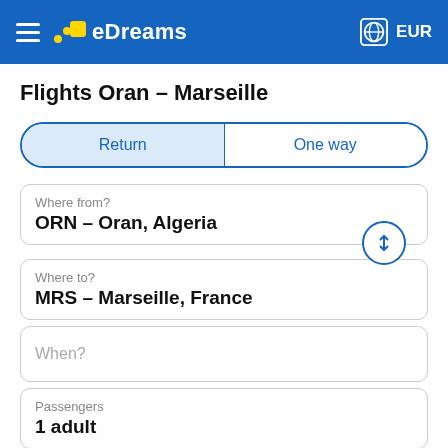eDreams   EUR
Flights Oran – Marseille
Return   One way
Where from?
ORN – Oran, Algeria
Where to?
MRS – Marseille, France
When?
Passengers
1 adult